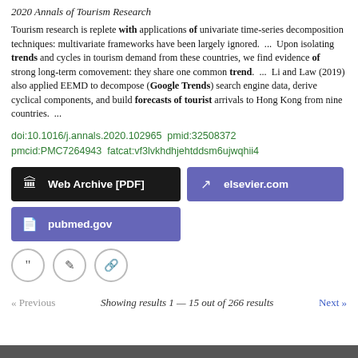2020 Annals of Tourism Research
Tourism research is replete with applications of univariate time-series decomposition techniques: multivariate frameworks have been largely ignored.  ...  Upon isolating trends and cycles in tourism demand from these countries, we find evidence of strong long-term comovement: they share one common trend.  ...  Li and Law (2019) also applied EEMD to decompose (Google Trends) search engine data, derive cyclical components, and build forecasts of tourist arrivals to Hong Kong from nine countries.  ...
doi:10.1016/j.annals.2020.102965  pmid:32508372  pmcid:PMC7264943  fatcat:vf3lvkhdhjehtddsm6ujwqhii4
[Figure (other): Three buttons: Web Archive [PDF] (dark background), elsevier.com (purple background), pubmed.gov (purple background)]
[Figure (other): Three icon buttons: quote, edit, link]
« Previous   Showing results 1 — 15 out of 266 results   Next »